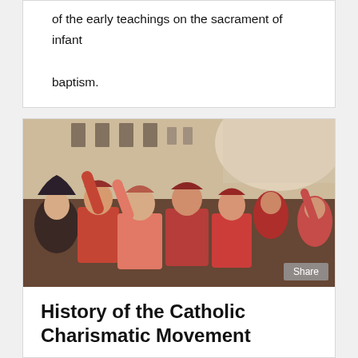of the early teachings on the sacrament of infant baptism.
[Figure (photo): Group of women dressed in red and pink clothing, raising their hands and singing or celebrating outdoors in front of a large building, likely at a Catholic Charismatic event.]
History of the Catholic Charismatic Movement
The Catholic Church encourages us to build a